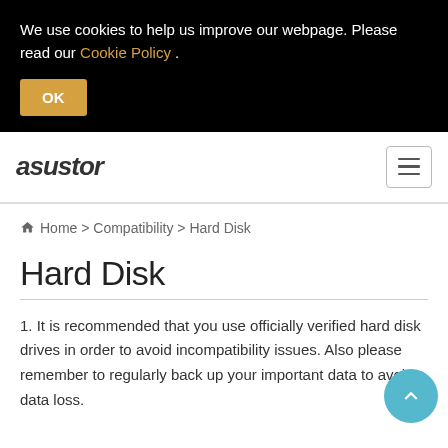We use cookies to help us improve our webpage. Please read our Cookie Policy .
OK
[Figure (logo): asustor brand logo in bold italic text]
Home > Compatibility > Hard Disk
Hard Disk
It is recommended that you use officially verified hard disk drives in order to avoid incompatibility issues. Also please remember to regularly back up your important data to avoid data loss.